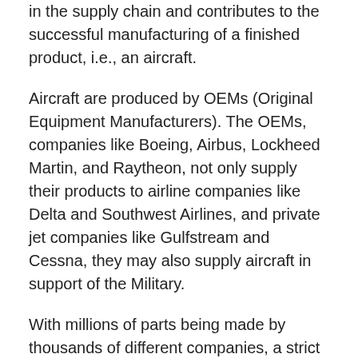in the supply chain and contributes to the successful manufacturing of a finished product, i.e., an aircraft.
Aircraft are produced by OEMs (Original Equipment Manufacturers). The OEMs, companies like Boeing, Airbus, Lockheed Martin, and Raytheon, not only supply their products to airline companies like Delta and Southwest Airlines, and private jet companies like Gulfstream and Cessna, they may also supply aircraft in support of the Military.
With millions of parts being made by thousands of different companies, a strict set of requirements is essential to ensure that safety standards are met, and uniformity is guaranteed. In this way, there can be certainty that all the individual pieces will work together to create a complete unit. Not only must the component parts be made to meet all the specs,